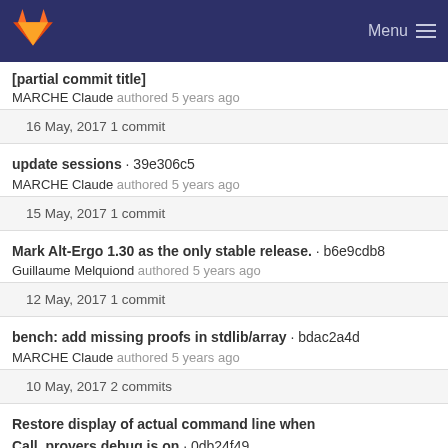GitLab navigation header with Menu
[partial commit title cut off] MARCHE Claude authored 5 years ago
16 May, 2017 1 commit
update sessions · 39e306c5
MARCHE Claude authored 5 years ago
15 May, 2017 1 commit
Mark Alt-Ergo 1.30 as the only stable release. · b6e9cdb8
Guillaume Melquiond authored 5 years ago
12 May, 2017 1 commit
bench: add missing proofs in stdlib/array · bdac2a4d
MARCHE Claude authored 5 years ago
10 May, 2017 2 commits
Restore display of actual command line when
Call_provers.debug is on · 0db24f49